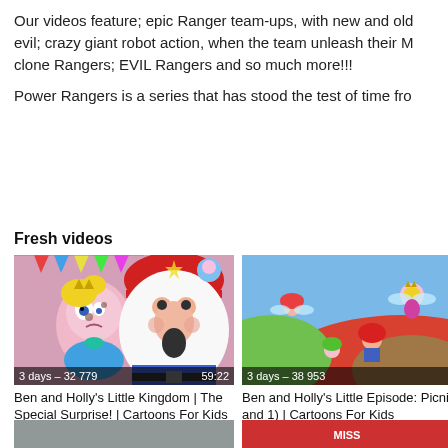Our videos feature; epic Ranger team-ups, with new and old evil; crazy giant robot action, when the team unleash their M clone Rangers; EVIL Rangers and so much more!!!
Power Rangers is a series that has stood the test of time fro
Fresh videos
[Figure (screenshot): Video thumbnail: Ben and Holly's Little Kingdom | The Special Surprise! | Cartoons For Kids. Duration 59:22. 3 days – 32 779 views.]
Ben and Holly's Little Kingdom | The Special Surprise! | Cartoons For Kids
[Figure (screenshot): Video thumbnail: Ben and Holly's Little Episode: Picnics and 1) | Cartoons For Kids. 3 days – 38 953 views.]
Ben and Holly's Little Episode: Picnics and 1) | Cartoons For Kids